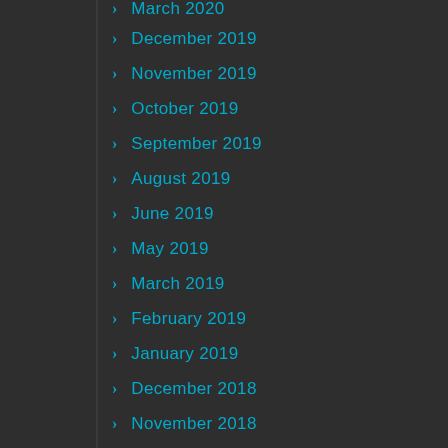March 2020 (partial, top cut off)
December 2019
November 2019
October 2019
September 2019
August 2019
June 2019
May 2019
March 2019
February 2019
January 2019
December 2018
November 2018
October 2018
September 2018
August 2018 (partial, bottom cut off)